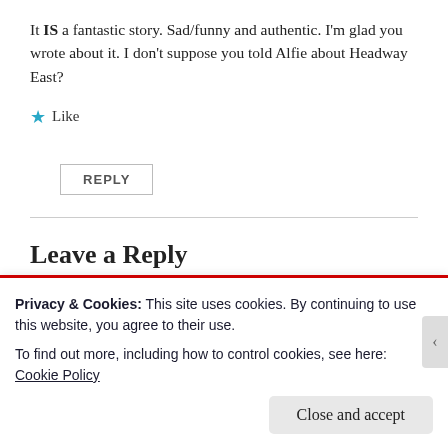It IS a fantastic story. Sad/funny and authentic. I'm glad you wrote about it. I don't suppose you told Alfie about Headway East?
★ Like
REPLY
Leave a Reply
Your email address will not be published. Required fields are
Privacy & Cookies: This site uses cookies. By continuing to use this website, you agree to their use.
To find out more, including how to control cookies, see here: Cookie Policy
Close and accept